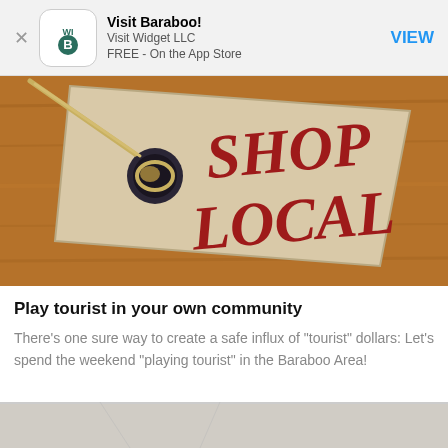[Figure (screenshot): App Store banner for 'Visit Baraboo!' by Visit Widget LLC, FREE on the App Store, with VIEW button]
[Figure (photo): A cardboard price tag with 'SHOP LOCAL' written in red script lettering, tied with twine, on a brown wooden background]
Play tourist in your own community
There's one sure way to create a safe influx of "tourist" dollars: Let's spend the weekend "playing tourist" in the Baraboo Area!
[Figure (photo): Partial bottom strip of a photo (cropped, content unclear)]